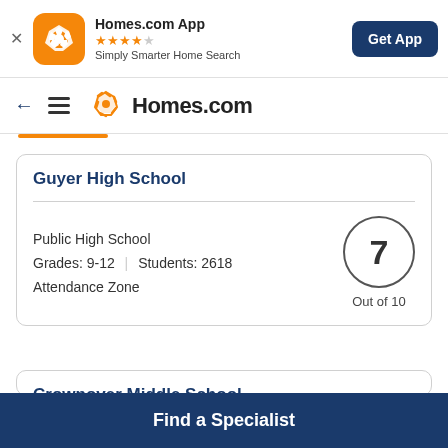[Figure (logo): Homes.com App promotional banner with app icon, star rating, tagline, and Get App button]
[Figure (logo): Homes.com navigation bar with back arrow, hamburger menu, and Homes.com logo]
Guyer High School
Public High School
Grades: 9-12  |  Students: 2618
Attendance Zone
7 Out of 10
Crownover Middle School
Find a Specialist